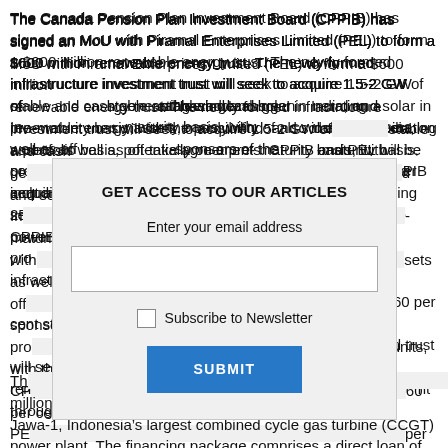The Canada Pension Plan Investment Board (CPPIB) has signed an MoU with Piramal Enterprises Limited (PEL) to form a $600 million renewable energy trust. The newly formed infrastructure investment trust will seek to acquire 1.5-2 GW of stable and cash generating renewable energy assets, mainly wind and solar in India, on a portfolio basis, potentially on a pre-maturity basis, with the possibility of also including operating assets as well as off-take agreements. CPPIB and PEL will be co-sponsors of the proposed infrastructure investment trust and its units, with the CPPIB acquiring a 60 per cent stake, PEL acquiring 60 per cent and PEL 15 per cent. The proposed trust will seek to raise per cent. It will seek to raise the remaining 25 per cent through an IPO. [text obscured by modal] combined cycle power plant [text continues]
[Figure (other): Modal popup dialog: GET ACCESS TO OUR ARTICLES. Enter your email address. Email input field. Subscribe to Newsletter checkbox. SUBMIT button.]
The [text obscured] $305 million for Jawa-1, Indonesia's largest combined cycle gas turbine (CCGT) power plant. The financing package comprises a direct loan of $185 million and a parallel loan of $120 million, provided by the Leading Asia Private Infrastructure Fund, which is administered by ADB. The project includes a 1,760 MW CCGT power plant and ancillary infrastructure in Cilamaya, Karawang, West Java.